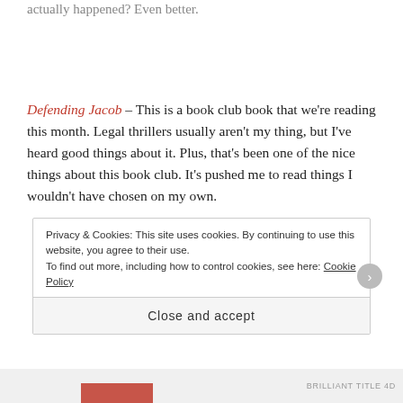actually happened? Even better.
Defending Jacob – This is a book club book that we're reading this month. Legal thrillers usually aren't my thing, but I've heard good things about it. Plus, that's been one of the nice things about this book club. It's pushed me to read things I wouldn't have chosen on my own.
Privacy & Cookies: This site uses cookies. By continuing to use this website, you agree to their use.
To find out more, including how to control cookies, see here: Cookie Policy
Close and accept